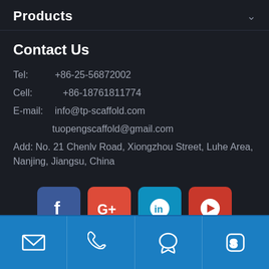Products
Contact Us
Tel:  +86-25-56872002
Cell:    +86-18761811774
E-mail: info@tp-scaffold.com
tuopengscaffold@gmail.com
Add: No. 21 Chenlv Road, Xiongzhou Street, Luhe Area, Nanjing, Jiangsu, China
[Figure (infographic): Social media icons: Facebook (blue), Google+ (red), LinkedIn (teal), YouTube (red)]
Copyright © Nanjing Tuopeng Construction Technology Co.,Ltd. All Rights Reserved.
[Figure (infographic): Bottom blue bar with four icons: email/envelope, phone, QQ/chat bubble, Skype]